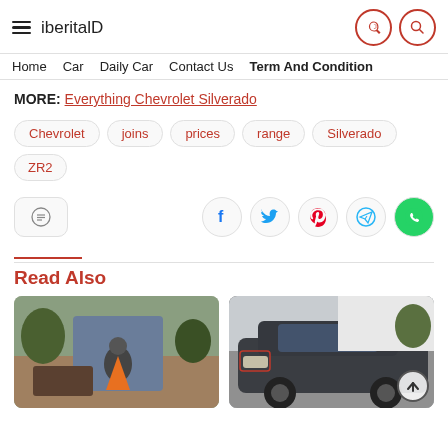iberitalD
Home   Car   Daily Car   Contact Us   Term And Condition
MORE: Everything Chevrolet Silverado
Chevrolet
joins
prices
range
Silverado
ZR2
[Figure (infographic): Social share buttons: comment, Facebook, Twitter, Pinterest, Telegram, WhatsApp]
Read Also
[Figure (photo): Person sitting in the trunk of a blue SUV with orange cones, outdoors]
[Figure (photo): Dark grey sporty Hyundai sedan parked in front of white building]